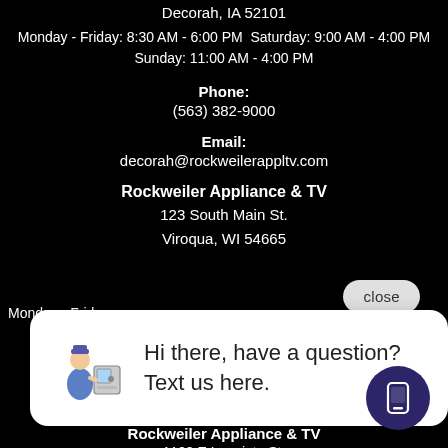Decorah, IA 52101
Monday - Friday: 8:30 AM - 6:00 PM Saturday: 9:00 AM - 4:00 PM Sunday: 11:00 AM - 4:00 PM
Phone:
(563) 382-9000
Email:
decorah@rockweilerappltv.com
Rockweiler Appliance & TV
123 South Main St.
Viroqua, WI 54665
Monday - Friday:
[Figure (screenshot): Chat popup with appliance technician illustration and text: Hi there, have a question? Text us here. Close button visible top right.]
Email:
viroqua@rockweilerappltv.com
Rockweiler Appliance & TV
1100 E Lapointe St.